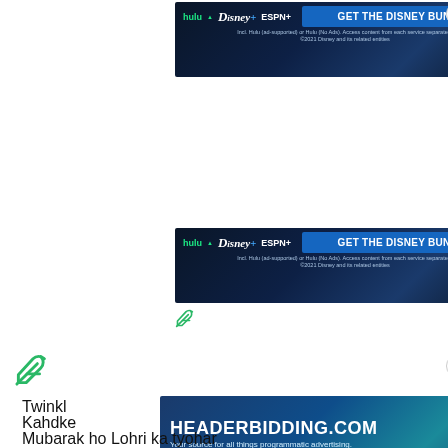[Figure (screenshot): Disney Bundle advertisement banner (Hulu, Disney+, ESPN+) at top of page with close button]
[Figure (screenshot): Disney Bundle advertisement banner (Hulu, Disney+, ESPN+) in middle of page with feather/filter icon below]
[Figure (logo): Feather/filter icon (green outline) near middle-left]
[Figure (screenshot): HeaderBidding.com advertisement banner at bottom]
Twinkl
Kahdke
Mubarak ho Lohri ka tyohar